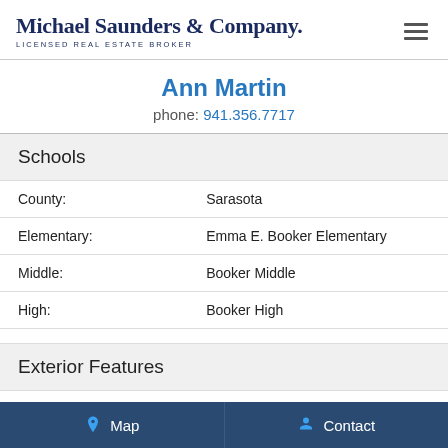Michael Saunders & Company. LICENSED REAL ESTATE BROKER
Ann Martin
phone: 941.356.7717
Schools
| County: | Sarasota |
| Elementary: | Emma E. Booker Elementary |
| Middle: | Booker Middle |
| High: | Booker High |
Exterior Features
| Fencing: | Wood |
Map   Contact